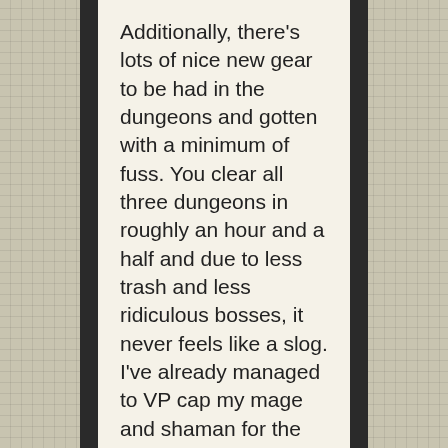Additionally, there's lots of nice new gear to be had in the dungeons and gotten with a minimum of fuss. You clear all three dungeons in roughly an hour and a half and due to less trash and less ridiculous bosses, it never feels like a slog. I've already managed to VP cap my mage and shaman for the week, which will make quick work of gearing up the other 85s I never play (due to heroics being boring as hell.) My only bone of contention is how